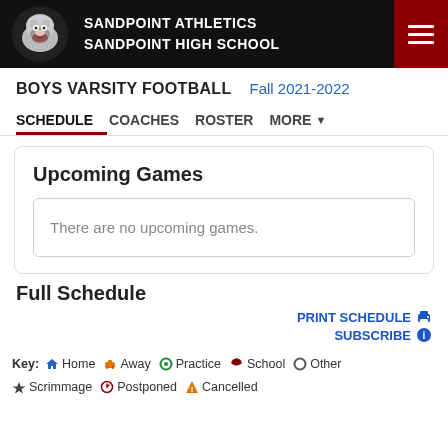SANDPOINT ATHLETICS
SANDPOINT HIGH SCHOOL
BOYS VARSITY FOOTBALL  Fall 2021-2022
SCHEDULE  COACHES  ROSTER  MORE
Upcoming Games
There are no upcoming games.
Full Schedule
PRINT SCHEDULE
SUBSCRIBE
Key: Home  Away  Practice  School  Other  Scrimmage  Postponed  Cancelled